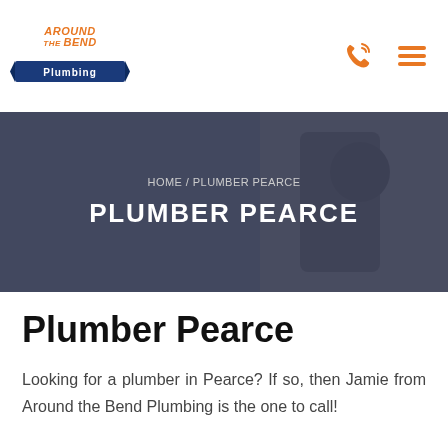[Figure (logo): Around the Bend Plumbing logo with orange text and blue banner]
[Figure (other): Orange phone/call icon and orange hamburger menu icon in top right header]
[Figure (photo): Hero banner with dark blue overlay showing a plumber working outdoors]
HOME / PLUMBER PEARCE
PLUMBER PEARCE
Plumber Pearce
Looking for a plumber in Pearce? If so, then Jamie from Around the Bend Plumbing is the one to call!